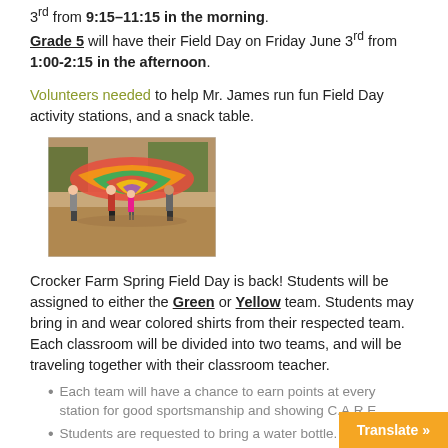3rd from 9:15–11:15 in the morning. Grade 5 will have their Field Day on Friday June 3rd from 1:00-2:15 in the afternoon.
Volunteers needed to help Mr. James run fun Field Day activity stations, and a snack table.
[Figure (photo): Children playing with a colorful parachute outdoors on a field day]
Crocker Farm Spring Field Day is back! Students will be assigned to either the Green or Yellow team. Students may bring in and wear colored shirts from their respected team. Each classroom will be divided into two teams, and will be traveling together with their classroom teacher.
Each team will have a chance to earn points at every station for good sportsmanship and showing C.A.R.E.
Students are requested to bring a water bottle. Water and a snack will be provided.